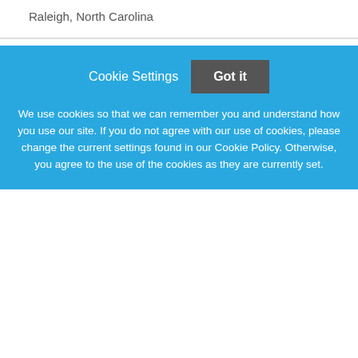Raleigh, North Carolina
Operations Analyst
Lotty & Lotta Market LLC
Alpharetta, Georgia
District Manager
RAE Water District
Cookie Settings
Got it
We use cookies so that we can remember you and understand how you use our site. If you do not agree with our use of cookies, please change the current settings found in our Cookie Policy. Otherwise, you agree to the use of the cookies as they are currently set.